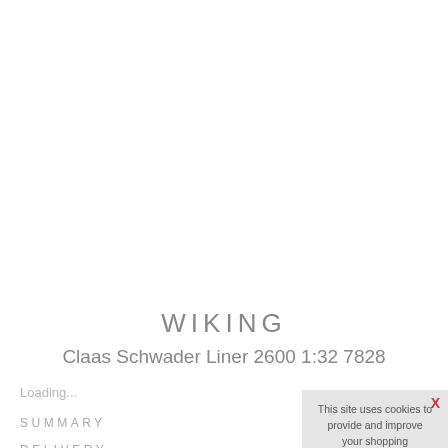WIKING
Claas Schwader Liner 2600 1:32 7828
Loading...
SUMMARY
DELIVERY
This site uses cookies to provide and improve your shopping experience. If you want to benefit from this improved service, please opt-in. Cookies Page. I opt-in to a better browsing experience
ACCEPT COOKIES